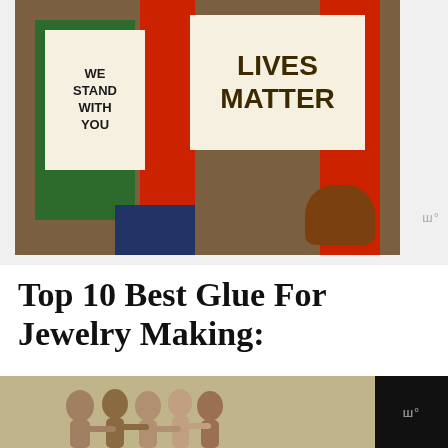[Figure (illustration): Painting of protest art showing signs reading 'We Stand With You' and 'Lives Matter' with hands holding signs against a red and brown background]
Top 10 Best Glue For Jewelry Making:
Gorilla 7700104 Super Glue Gel
[Figure (photo): Advertisement banner showing group of people with arms around each other viewed from behind, with text 'We Stand Together' on dark background]